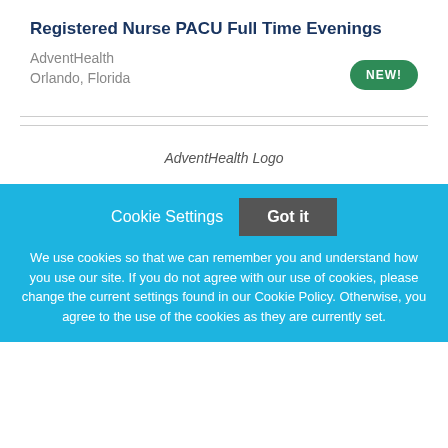Registered Nurse PACU Full Time Evenings
AdventHealth
Orlando, Florida
[Figure (logo): AdventHealth Logo placeholder image]
Cookie Settings   Got it

We use cookies so that we can remember you and understand how you use our site. If you do not agree with our use of cookies, please change the current settings found in our Cookie Policy. Otherwise, you agree to the use of the cookies as they are currently set.